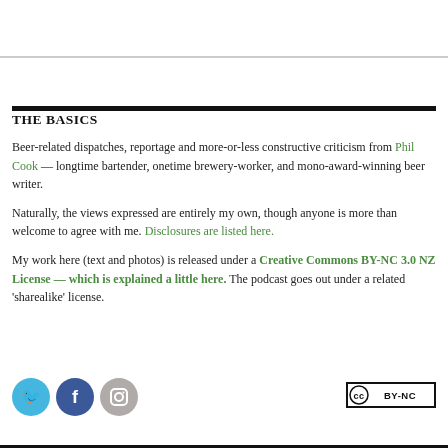THE BASICS
Beer-related dispatches, reportage and more-or-less constructive criticism from Phil Cook — longtime bartender, onetime brewery-worker, and mono-award-winning beer writer.
Naturally, the views expressed are entirely my own, though anyone is more than welcome to agree with me. Disclosures are listed here.
My work here (text and photos) is released under a Creative Commons BY-NC 3.0 NZ License — which is explained a little here. The podcast goes out under a related 'sharealike' license.
[Figure (logo): Social media icons: Twitter (cyan circle), Facebook (dark blue circle), Instagram (grey circle)]
[Figure (logo): Creative Commons BY-NC license badge]